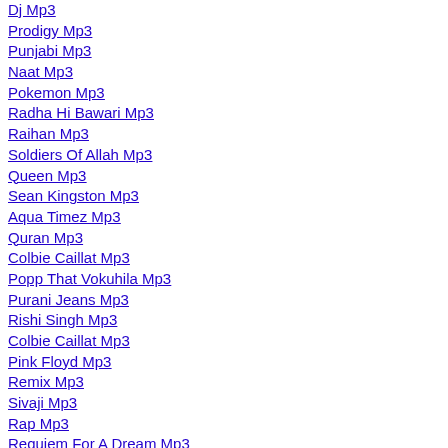Dj Mp3
Prodigy Mp3
Punjabi Mp3
Naat Mp3
Pokemon Mp3
Radha Hi Bawari Mp3
Raihan Mp3
Soldiers Of Allah Mp3
Queen Mp3
Sean Kingston Mp3
Aqua Timez Mp3
Quran Mp3
Colbie Caillat Mp3
Popp That Vokuhila Mp3
Purani Jeans Mp3
Rishi Singh Mp3
Colbie Caillat Mp3
Pink Floyd Mp3
Remix Mp3
Sivaji Mp3
Rap Mp3
Requiem For A Dream Mp3
Soldiers Of Allah Mp3
Scotty Doesn T Know Mp3
Raya Mp3
Rihana Mp3